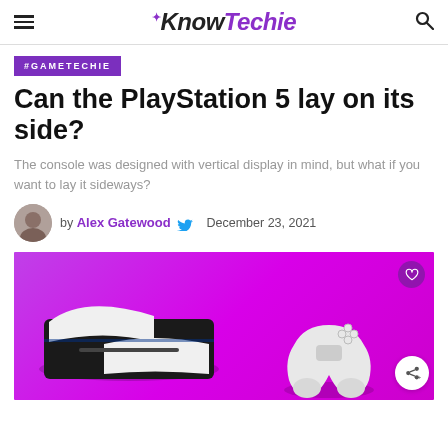KnowTechie
#GAMETECHIE
Can the PlayStation 5 lay on its side?
The console was designed with vertical display in mind, but what if you want to lay it sideways?
by Alex Gatewood   December 23, 2021
[Figure (photo): PlayStation 5 console laying on its side with a DualSense controller on a bright purple/magenta background]